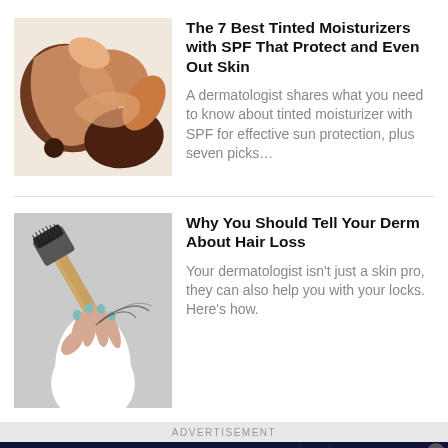[Figure (photo): Colorful blobs of tinted moisturizer foundation in various skin tones on white background]
The 7 Best Tinted Moisturizers with SPF That Protect and Even Out Skin
A dermatologist shares what you need to know about tinted moisturizer with SPF for effective sun protection, plus seven picks…
[Figure (photo): Hand holding a hairbrush with hair loss, person wearing white sleeve, gray background]
Why You Should Tell Your Derm About Hair Loss
Your dermatologist isn't just a skin pro, they can also help you with your locks. Here's how.
ADVERTISEMENT
[Figure (screenshot): Advertisement banner showing card games and puzzle games with Play Free Games button]